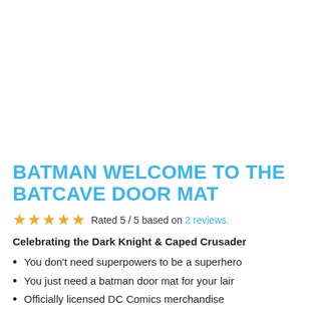BATMAN WELCOME TO THE BATCAVE DOOR MAT
★★★★★ Rated 5 / 5 based on 2 reviews.
Celebrating the Dark Knight & Caped Crusader
You don't need superpowers to be a superhero
You just need a batman door mat for your lair
Officially licensed DC Comics merchandise